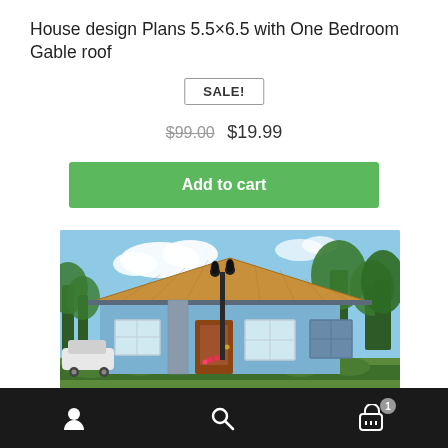House design Plans 5.5×6.5 with One Bedroom Gable roof
SALE!
$99.00  $19.99
Add to cart
[Figure (photo): 3D rendering of a one-bedroom house with orange gable roof, blue walls, white windows, wooden front door, street lamp in front, surrounded by palm trees and greenery, with a white car partially visible on the left]
User icon | Search icon | Cart icon (1)